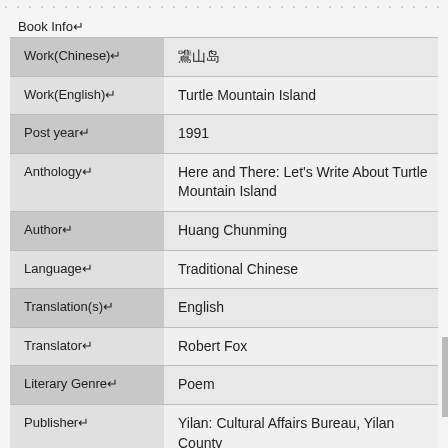Book Info↵
| Field | Value |
| --- | --- |
| Work(Chinese)↵ | 龜山島 |
| Work(English)↵ | Turtle Mountain Island |
| Post year↵ | 1991 |
| Anthology↵ | Here and There: Let's Write About Turtle Mountain Island |
| Author↵ | Huang Chunming |
| Language↵ | Traditional Chinese |
| Translation(s)↵ | English |
| Translator↵ | Robert Fox |
| Literary Genre↵ | Poem |
| Publisher↵ | Yilan: Cultural Affairs Bureau, Yilan County |